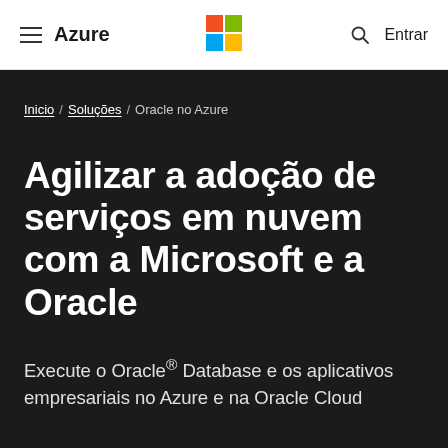≡  Azure  [Microsoft Logo]  🔍  Entrar
Inicio / Soluções / Oracle no Azure
Agilizar a adoção de serviços em nuvem com a Microsoft e a Oracle
Execute o Oracle® Database e os aplicativos empresariais no Azure e na Oracle Cloud